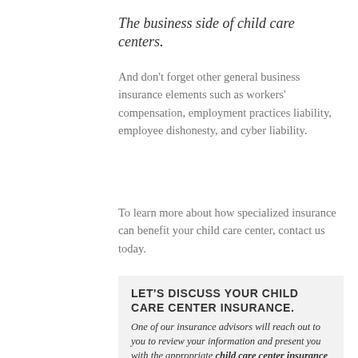The business side of child care centers.
And don't forget other general business insurance elements such as workers' compensation, employment practices liability, employee dishonesty, and cyber liability.
To learn more about how specialized insurance can benefit your child care center, contact us today.
LET'S DISCUSS YOUR CHILD CARE CENTER INSURANCE.
One of our insurance advisors will reach out to you to review your information and present you with the appropriate child care center insurance solution. There's no obligation, just good-old-fashioned advice.